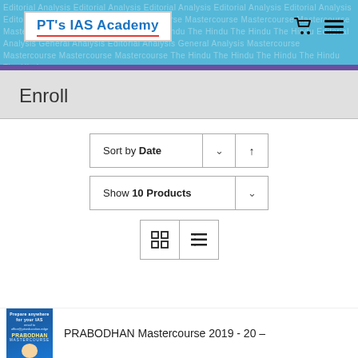PT's IAS Academy
Enroll
Sort by Date
Show 10 Products
PRABODHAN Mastercourse 2019-20 –